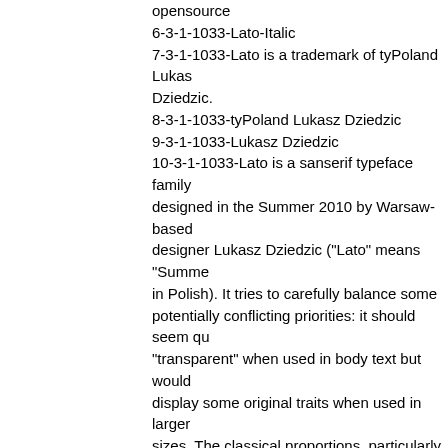opensource
6-3-1-1033-Lato-Italic
7-3-1-1033-Lato is a trademark of tyPoland Lukasz Dziedzic.
8-3-1-1033-tyPoland Lukasz Dziedzic
9-3-1-1033-Lukasz Dziedzic
10-3-1-1033-Lato is a sanserif typeface family designed in the Summer 2010 by Warsaw-based designer Lukasz Dziedzic ("Lato" means "Summer" in Polish). It tries to carefully balance some potentially conflicting priorities: it should seem quite "transparent" when used in body text but would display some original traits when used in larger sizes. The classical proportions, particularly visible in the uppercase, give the letterforms familiar harmony and elegance. At the same time, its sleek sanserif look makes evident the fact that Lato was designed in 2010, even though it does not follow any current trend. The semi-rounded details of the letters give Lato a feeling of warmth, while the strong structure provides stability and seriousness.
11-3-1-1033-http://www.typoland.com/
12-3-1-1033-